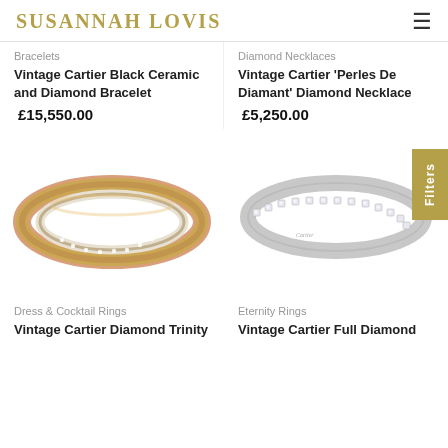Susannah Lovis
Bracelets
Vintage Cartier Black Ceramic and Diamond Bracelet
£15,550.00
Diamond Necklaces
Vintage Cartier 'Perles De Diamant' Diamond Necklace
£5,250.00
[Figure (photo): Vintage Cartier tricolor gold diamond ring (rose, yellow, white gold channels with diamonds)]
[Figure (photo): Vintage Cartier full diamond eternity ring in platinum/white gold]
Dress & Cocktail Rings
Vintage Cartier Diamond Trinity
Eternity Rings
Vintage Cartier Full Diamond